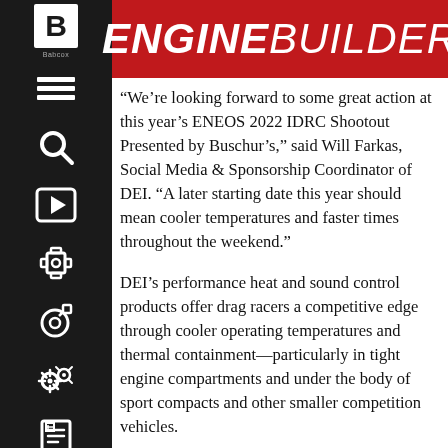ENGINE BUILDER
[Figure (other): Black sidebar with navigation icons: hamburger menu, search, play button, engine/wrench icon, wheel/turbo icon, settings/cog icon, and a book/article icon. A white 'B' logo box at top with 'Babcox' text below.]
“We’re looking forward to some great action at this year’s ENEOS 2022 IDRC Shootout Presented by Buschur’s,” said Will Farkas, Social Media & Sponsorship Coordinator of DEI. “A later starting date this year should mean cooler temperatures and faster times throughout the weekend.”
DEI’s performance heat and sound control products offer drag racers a competitive edge through cooler operating temperatures and thermal containment—particularly in tight engine compartments and under the body of sport compacts and other smaller competition vehicles.
For more information about DEI’s complete line of performance heat and sound control products,